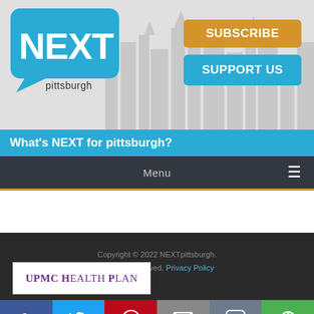[Figure (screenshot): NEXTpittsburgh website header with logo, Subscribe and Support Us buttons, city skyline background]
What's NEXT for pittsburgh?
Menu
[Figure (logo): UPMC Health Plan logo in white box]
Copyright © 2022 NEXTpittsburgh. All rights reserved. Privacy Policy
[Figure (infographic): Social media share buttons: Facebook, Twitter, Pinterest, Email, SMS, Share]